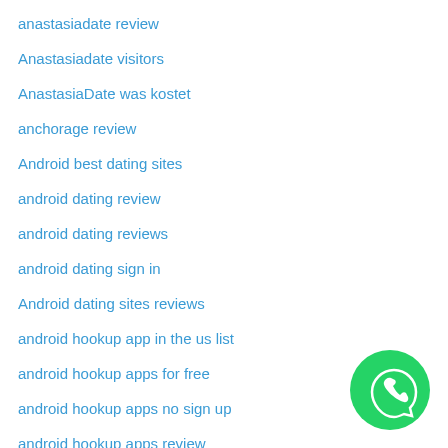anastasiadate review
Anastasiadate visitors
AnastasiaDate was kostet
anchorage review
Android best dating sites
android dating review
android dating reviews
android dating sign in
Android dating sites reviews
android hookup app in the us list
android hookup apps for free
android hookup apps no sign up
android hookup apps review
[Figure (logo): WhatsApp green circular button with phone handset icon]